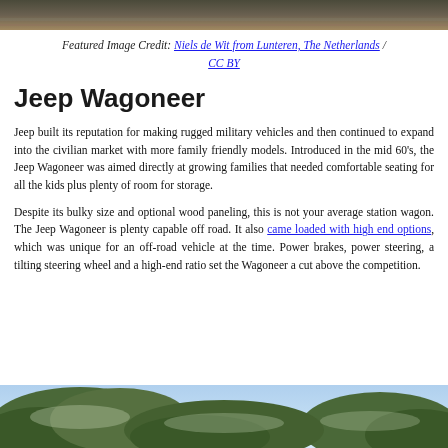[Figure (photo): Top portion of a Jeep vehicle photo, cropped at top of page]
Featured Image Credit: Niels de Wit from Lunteren, The Netherlands / CC BY
Jeep Wagoneer
Jeep built its reputation for making rugged military vehicles and then continued to expand into the civilian market with more family friendly models. Introduced in the mid 60's, the Jeep Wagoneer was aimed directly at growing families that needed comfortable seating for all the kids plus plenty of room for storage.
Despite its bulky size and optional wood paneling, this is not your average station wagon. The Jeep Wagoneer is plenty capable off road. It also came loaded with high end options, which was unique for an off-road vehicle at the time. Power brakes, power steering, a tilting steering wheel and a high-end ratio set the Wagoneer a cut above the competition.
[Figure (photo): Bottom photo showing pine/spruce trees with a Jeep Wagoneer partially visible, against a blue sky]